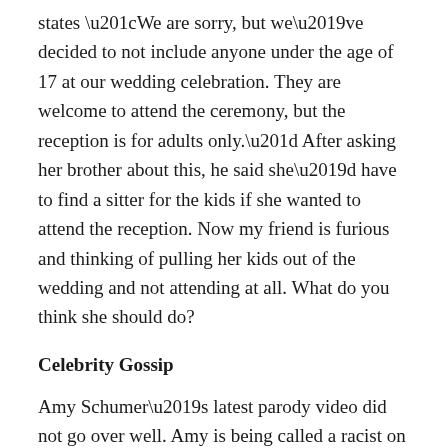states “We are sorry, but we’ve decided to not include anyone under the age of 17 at our wedding celebration.  They are welcome to attend the ceremony, but the reception is for adults only.” After asking her brother about this, he said she’d have to find a sitter for the kids if she wanted to attend the reception.  Now my friend is furious and thinking of pulling her kids out of the wedding and not attending at all.  What do you think she should do?
Celebrity Gossip
Amy Schumer’s latest parody video did not go over well.  Amy is being called a racist on social media and the #AmySchumerGotToGoParty is trending